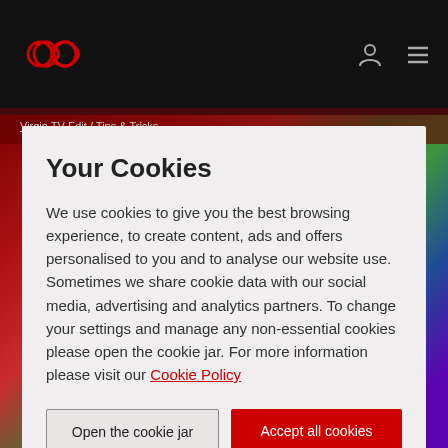[Figure (screenshot): Dark navigation bar with red infinity loop logo on the left, and a person icon and hamburger menu icon on the right]
Virgin TV Edit / Tips & Tricks
Your Cookies
We use cookies to give you the best browsing experience, to create content, ads and offers personalised to you and to analyse our website use. Sometimes we share cookie data with our social media, advertising and analytics partners. To change your settings and manage any non-essential cookies please open the cookie jar. For more information please visit our Cookie Policy
Open the cookie jar
Accept all cookies